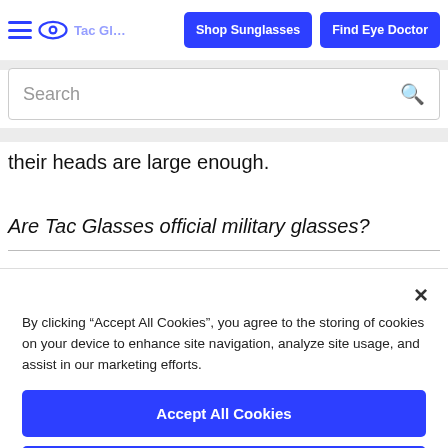Shop Sunglasses | Find Eye Doctor | Search
their heads are large enough.
Are Tac Glasses official military glasses?
By clicking “Accept All Cookies”, you agree to the storing of cookies on your device to enhance site navigation, analyze site usage, and assist in our marketing efforts.
Accept All Cookies
Reject All
Cookies Settings